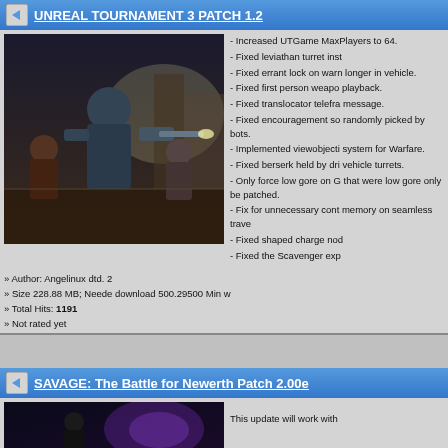UNREAL TOURNAMENT 3 PATCH 1.2
[Figure (photo): Screenshot from Unreal Tournament 3 showing armored characters in a sci-fi battle arena]
- Increased UTGame MaxPlayers to 64.
- Fixed leviathan turret inst
- Fixed errant lock on warn longer in vehicle.
- Fixed first person weapo playback.
- Fixed translocator telefra message.
- Fixed encouragement so randomly picked by bots.
- Implemented viewobjecti system for Warfare.
- Fixed berserk held by dri vehicle turrets.
- Only force low gore on G that were low gore only be patched.
- Fix for unnecessary cont memory on seamless trave
- Fixed shaped charge nod
- Fixed the Scavenger exp
» Author: Angelinux dtd. 2
» Size 228.88 MB; Neede download 500.29500 Min w
» Total Hits: 1191
» Not rated yet
SAVAGE: The Battle for Newerth Patch 2.00e
[Figure (photo): Screenshot from SAVAGE: The Battle for Newerth game with dark purple-lit scene]
This update will work with